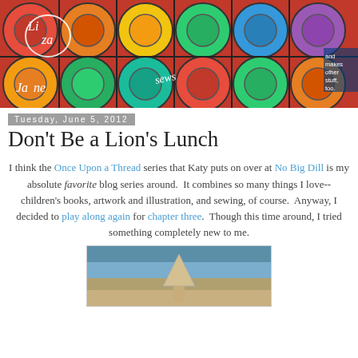[Figure (photo): Colorful blog header image showing crayons/paint circles in rainbow colors with text 'Liza Jane sews and makes other stuff too']
Tuesday, June 5, 2012
Don't Be a Lion's Lunch
I think the Once Upon a Thread series that Katy puts on over at No Big Dill is my absolute favorite blog series around. It combines so many things I love-- children's books, artwork and illustration, and sewing, of course. Anyway, I decided to play along again for chapter three. Though this time around, I tried something completely new to me.
[Figure (photo): Partial photo of a craft project at the bottom of the page]